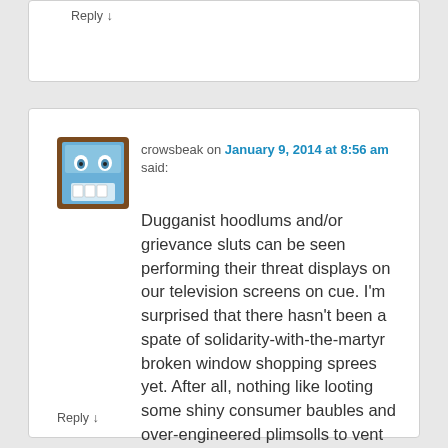Reply ↓
crowsbeak on January 9, 2014 at 8:56 am said:
[Figure (illustration): Avatar icon: cartoon face with wide eyes and teeth on blue and brown background]
Dugganist hoodlums and/or grievance sluts can be seen performing their threat displays on our television screens on cue. I'm surprised that there hasn't been a spate of solidarity-with-the-martyr broken window shopping sprees yet. After all, nothing like looting some shiny consumer baubles and over-engineered plimsolls to vent your rage at 'injustice'.
Reply ↓